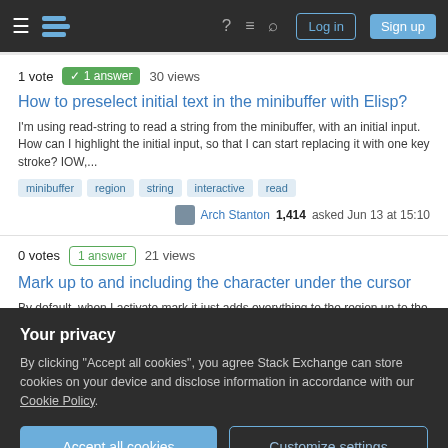Stack Exchange navigation bar with Log in and Sign up buttons
1 vote  1 answer  30 views
How to preselect initial text in the minibuffer with Elisp?
I'm using read-string to read a string from the minibuffer, with an initial input. How can I highlight the initial input, so that I can start replacing it with one key stroke? IOW,...
minibuffer  region  string  interactive  read
Arch Stanton 1,414 asked Jun 13 at 15:10
0 votes  1 answer  21 views
Mark up to and including the character under the cursor
By default, when I activate mark it just adds everything to the region up to the point
Your privacy
By clicking "Accept all cookies", you agree Stack Exchange can store cookies on your device and disclose information in accordance with our Cookie Policy.
Accept all cookies  Customize settings
How can I apply black color for bold text in highlighted